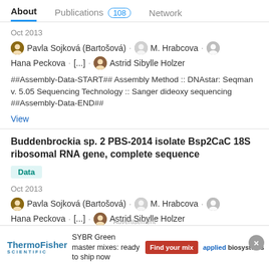About   Publications 108   Network
Oct 2013
Pavla Sojková (Bartošová) · M. Hrabcova · Hana Peckova · [...] · Astrid Sibylle Holzer
##Assembly-Data-START## Assembly Method :: DNAstar: Seqman v. 5.05 Sequencing Technology :: Sanger dideoxy sequencing ##Assembly-Data-END##
View
Buddenbrockia sp. 2 PBS-2014 isolate Bsp2CaC 18S ribosomal RNA gene, complete sequence
Data
Oct 2013
Pavla Sojková (Bartošová) · M. Hrabcova · Hana Peckova · [...] · Astrid Sibylle Holzer
[Figure (other): Advertisement banner for ThermoFisher Scientific - SYBR Green master mixes with Find your mix button and Applied Biosystems logo]